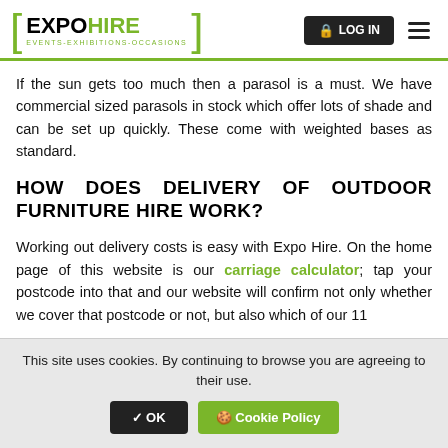[Figure (logo): Expo Hire logo with green brackets and tagline EVENTS-EXHIBITIONS-OCCASIONS, with LOG IN button and hamburger menu]
If the sun gets too much then a parasol is a must. We have commercial sized parasols in stock which offer lots of shade and can be set up quickly. These come with weighted bases as standard.
HOW DOES DELIVERY OF OUTDOOR FURNITURE HIRE WORK?
Working out delivery costs is easy with Expo Hire. On the home page of this website is our carriage calculator; tap your postcode into that and our website will confirm not only whether we cover that postcode or not, but also which of our 11
This site uses cookies. By continuing to browse you are agreeing to their use.